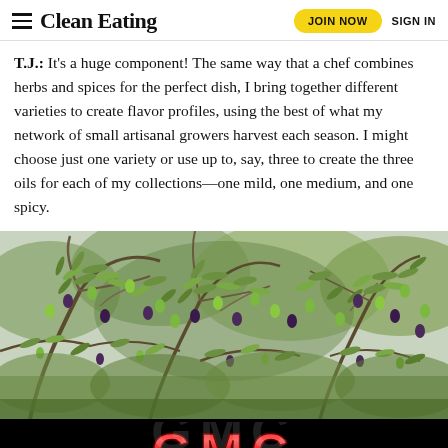Clean Eating  JOIN NOW  SIGN IN
T.J.: It's a huge component! The same way that a chef combines herbs and spices for the perfect dish, I bring together different varieties to create flavor profiles, using the best of what my network of small artisanal growers harvest each season. I might choose just one variety or use up to, say, three to create the three oils for each of my collections—one mild, one medium, and one spicy.
[Figure (photo): Close-up photo of an olive tree branch with clusters of green and dark purple/black olives and narrow green leaves against a blurred background.]
[Figure (logo): GMC logo in red metallic letters on a black background — advertisement banner.]